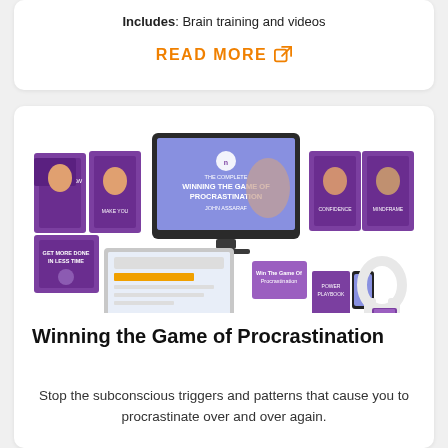Includes: Brain training and videos
READ MORE
[Figure (photo): Product bundle image for 'Winning the Game of Procrastination' by John Assaraf, showing multiple book covers, a desktop monitor, laptop, mobile phone, headphones, and supplementary materials with purple branding.]
Winning the Game of Procrastination
Stop the subconscious triggers and patterns that cause you to procrastinate over and over again.
Includes: Brain training audios and videos